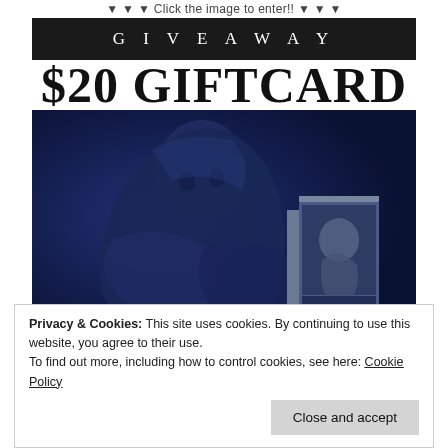▼ ▼ ▼ Click the image to enter!! ▼ ▼ ▼
[Figure (illustration): Giveaway banner with black background and 'GIVEAWAY' text in white spaced letters, followed by large bold '$20 GIFTCARD' text, and a dark blue moody photograph of a shirtless person with a book cover for 'Lust' by The Elite Seven visible in the lower right corner of the image.]
Privacy & Cookies: This site uses cookies. By continuing to use this website, you agree to their use.
To find out more, including how to control cookies, see here: Cookie Policy
Close and accept